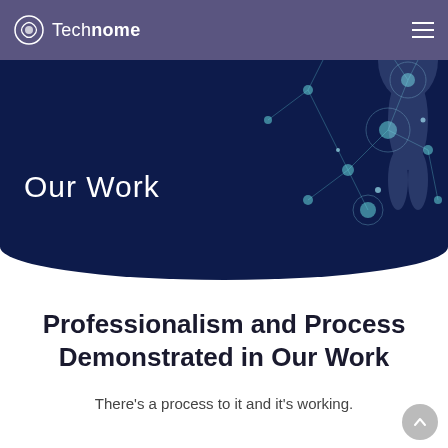Technome
Our Work
Professionalism and Process Demonstrated in Our Work
There's a process to it and it's working.